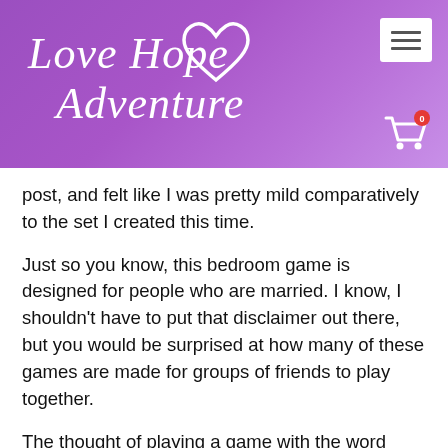[Figure (logo): Love Hope Adventure logo with cursive white text and a heart outline, on a purple gradient background header. Includes a hamburger menu button and a shopping cart icon with badge showing 0.]
post, and felt like I was pretty mild comparatively to the set I created this time.
Just so you know, this bedroom game is designed for people who are married. I know, I shouldn't have to put that disclaimer out there, but you would be surprised at how many of these games are made for groups of friends to play together.
The thought of playing a game with the word “sexy” in the title with even my best friends, is enough to make me feel gross. Don’t get me wrong, I want my besties to have a wonderful love life, but I don’t want to see them